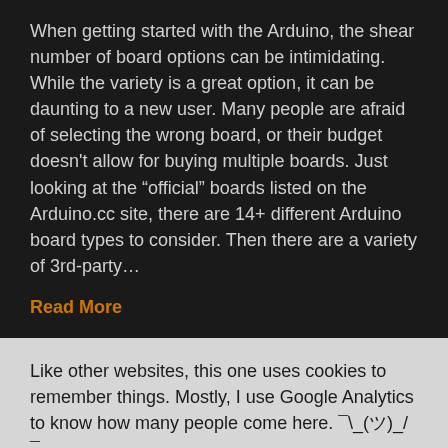When getting started with the Arduino, the shear number of board options can be intimidating. While the variety is a great option, it can be daunting to a new user. Many people are afraid of selecting the wrong board, or their budget doesn't allow for buying multiple boards. Just looking at the "official" boards listed on the Arduino.cc site, there are 14+ different Arduino board types to consider. Then there are a variety of 3rd-party…
Read More
Like other websites, this one uses cookies to remember things. Mostly, I use Google Analytics to know how many people come here. ¯\_(ツ)_/¯
By clicking "Accept", you consent to the use of ALL the cookies.
Do not sell my personal information (I wouldn't know how anyway).